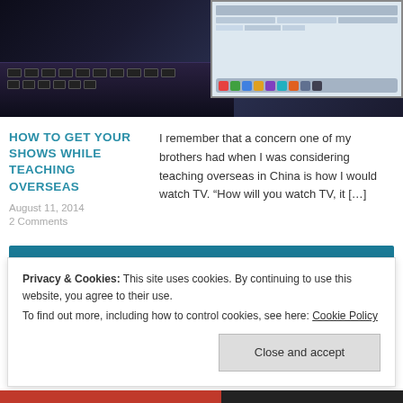[Figure (screenshot): Screenshot of a laptop with a dark keyboard in foreground and a screen showing a web browser with toolbar icons and dock]
HOW TO GET YOUR SHOWS WHILE TEACHING OVERSEAS
August 11, 2014
2 Comments
I remember that a concern one of my brothers had when I was considering teaching overseas in China is how I would watch TV. “How will you watch TV, it […]
Older posts
Privacy & Cookies: This site uses cookies. By continuing to use this website, you agree to their use.
To find out more, including how to control cookies, see here: Cookie Policy
Close and accept